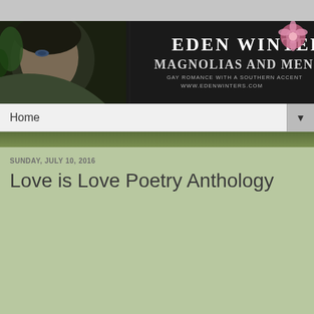[Figure (illustration): Website banner for Eden Winters author blog. Dark background with a close-up of a man's face on the left side, and text on the right reading 'EDEN WINTERS' in large white letters, and 'MAGNOLIAS AND MEN' with subtitle 'GAY ROMANCE WITH A SOUTHERN ACCENT' and 'WWW.EDENWINTERS.COM'. A pink flower is visible in the upper right corner.]
Home ▼
SUNDAY, JULY 10, 2016
Love is Love Poetry Anthology